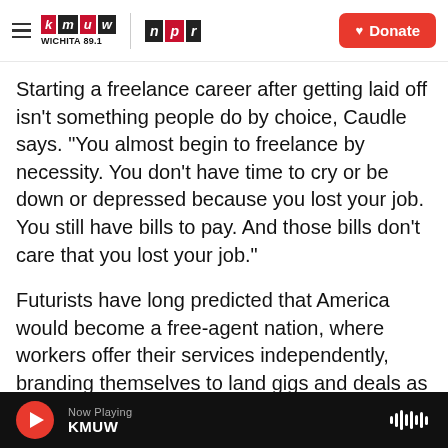kmuw WICHITA 89.1 | npr | Donate
Starting a freelance career after getting laid off isn't something people do by choice, Caudle says. "You almost begin to freelance by necessity. You don't have time to cry or be down or depressed because you lost your job. You still have bills to pay. And those bills don't care that you lost your job."
Futurists have long predicted that America would become a free-agent nation, where workers offer their services independently, branding themselves to land gigs and deals as full-time permanent employment withers away. That did happen in parts of the economy, but not at the hyper-speed
Now Playing KMUW